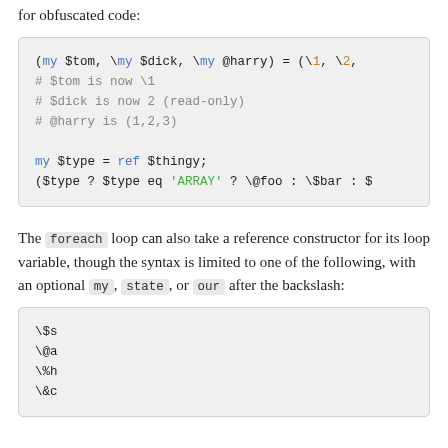type for each element on the list, though this may make for obfuscated code:
(my $tom, \my $dick, \my @harry) = (\1, \2,
# $tom is now \1
# $dick is now 2 (read-only)
# @harry is (1,2,3)

my $type = ref $thingy;
($type ? $type eq 'ARRAY' ? \@foo : \$bar : $
The foreach loop can also take a reference constructor for its loop variable, though the syntax is limited to one of the following, with an optional my, state, or our after the backslash:
\$s
\@a
\%h
\&c